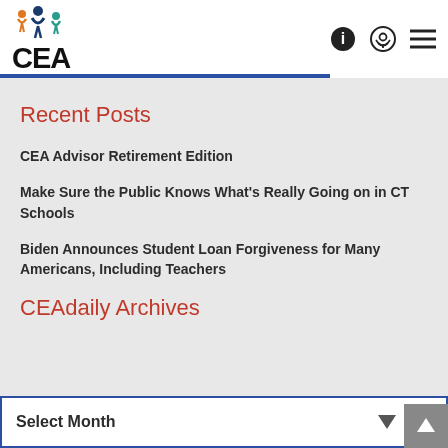[Figure (logo): CEA logo with colorful figure icon above large CEA text]
Recent Posts
CEA Advisor Retirement Edition
Make Sure the Public Knows What's Really Going on in CT Schools
Biden Announces Student Loan Forgiveness for Many Americans, Including Teachers
CEAdaily Archives
Select Month